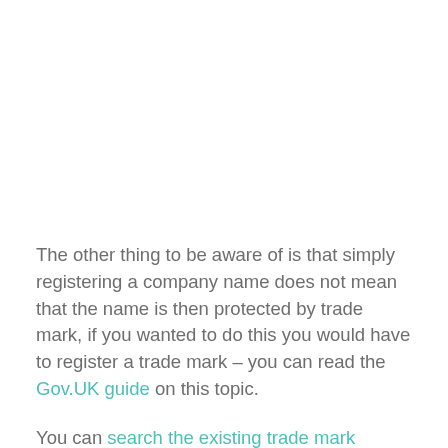The other thing to be aware of is that simply registering a company name does not mean that the name is then protected by trade mark, if you wanted to do this you would have to register a trade mark – you can read the Gov.UK guide on this topic.
You can search the existing trade mark directory to see if a name / brand similar to yours is already in existence or not.